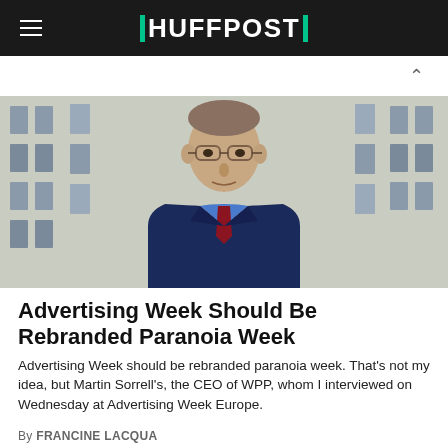HUFFPOST
[Figure (photo): Portrait of a man in a dark blue suit with a red tie and glasses, standing in front of a classical building facade. The man is Martin Sorrell, CEO of WPP.]
Advertising Week Should Be Rebranded Paranoia Week
Advertising Week should be rebranded paranoia week. That's not my idea, but Martin Sorrell's, the CEO of WPP, whom I interviewed on Wednesday at Advertising Week Europe.
By FRANCINE LACQUA